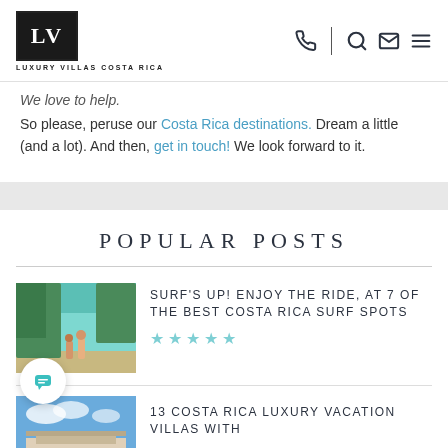LV | LUXURY VILLAS COSTA RICA
We love to help.

So please, peruse our Costa Rica destinations. Dream a little (and a lot). And then, get in touch! We look forward to it.
POPULAR POSTS
[Figure (photo): Two surfers walking on a beach path surrounded by tropical greenery with turquoise water in the background]
SURF'S UP! ENJOY THE RIDE, AT 7 OF THE BEST COSTA RICA SURF SPOTS
[Figure (photo): Blue sky and rooftop of a Costa Rica luxury vacation villa]